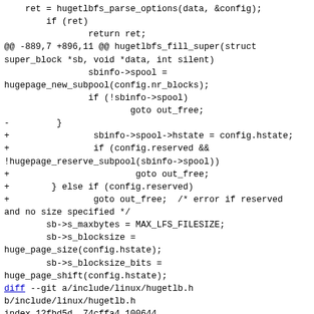ret = hugetlbfs_parse_options(data, &config);
        if (ret)
                return ret;
@@ -889,7 +896,11 @@ hugetlbfs_fill_super(struct super_block *sb, void *data, int silent)
                sbinfo->spool =
hugepa ge_new_subpool(config.nr_blocks);
                if (!sbinfo->spool)
                        goto out_free;
-          }
+                sbinfo->spool->hstate = config.hstate;
+                if (config.reserved &&
!hugepage_reserve_subpool(sbinfo->spool))
+                        goto out_free;
+        } else if (config.reserved)
+                goto out_free;  /* error if reserved and no size specified */
        sb->s_maxbytes = MAX_LFS_FILESIZE;
        sb->s_blocksize =
huge_page_size(config.hstate);
        sb->s_blocksize_bits =
huge_page_shift(config.hstate);
diff --git a/include/linux/hugetlb.h b/include/linux/hugetlb.h
index 12fbd5d..74cffa4 100644
--- a/include/linux/hugetlb.h
+++ b/include/linux/hugetlb.h
@@ -45,6 +45,7 @@ static inline bool hugepage_subpool_reserved(struct hugepage_subpool *spool)